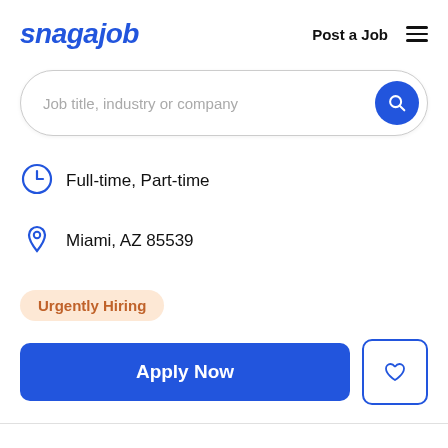snagajob | Post a Job
[Figure (screenshot): Search bar with placeholder text 'Job title, industry or company' and a blue circular search button]
Full-time, Part-time
Miami, AZ 85539
Urgently Hiring
Apply Now